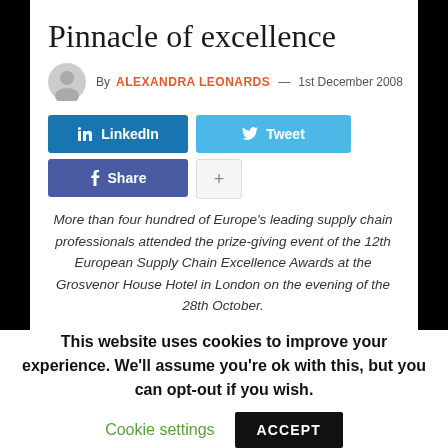Pinnacle of excellence
By ALEXANDRA LEONARDS — 1st December 2008
[Figure (screenshot): Social sharing buttons: LinkedIn, Tweet, Share (Facebook), and a plus button]
More than four hundred of Europe's leading supply chain professionals attended the prize-giving event of the 12th European Supply Chain Excellence Awards at the Grosvenor House Hotel in London on the evening of the 28th October.
This website uses cookies to improve your experience. We'll assume you're ok with this, but you can opt-out if you wish.
Cookie settings   ACCEPT